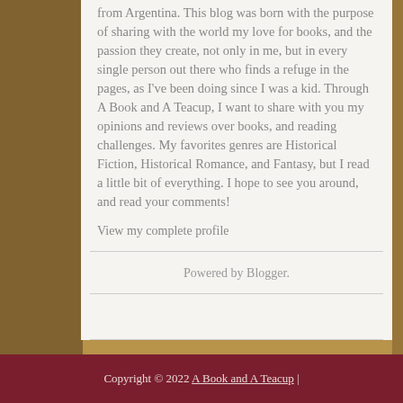from Argentina. This blog was born with the purpose of sharing with the world my love for books, and the passion they create, not only in me, but in every single person out there who finds a refuge in the pages, as I've been doing since I was a kid. Through A Book and A Teacup, I want to share with you my opinions and reviews over books, and reading challenges. My favorites genres are Historical Fiction, Historical Romance, and Fantasy, but I read a little bit of everything. I hope to see you around, and read your comments!
View my complete profile
Powered by Blogger.
Copyright © 2022 A Book and A Teacup |